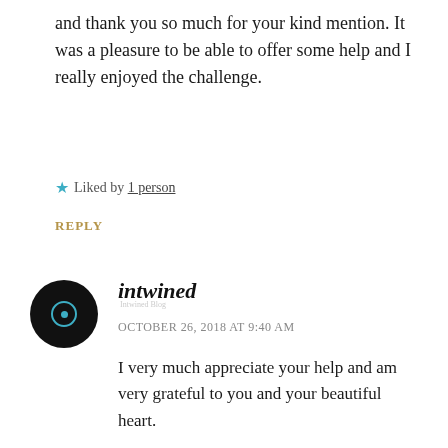and thank you so much for your kind mention. It was a pleasure to be able to offer some help and I really enjoyed the challenge.
★ Liked by 1 person
REPLY
[Figure (illustration): Black circular avatar with a teal-bordered circle and dot in the center, with small text 'intwined blog']
intwined
OCTOBER 26, 2018 AT 9:40 AM
I very much appreciate your help and am very grateful to you and your beautiful heart.